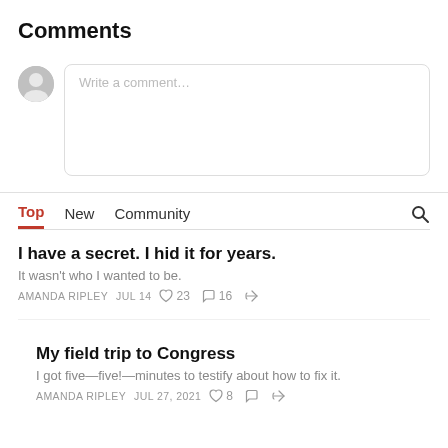Comments
[Figure (screenshot): Comment input area with avatar icon and text box placeholder 'Write a comment...']
Top  New  Community
I have a secret. I hid it for years.
It wasn't who I wanted to be.
AMANDA RIPLEY  JUL 14  ♡ 23  ○ 16  share
My field trip to Congress
I got five—five!—minutes to testify about how to fix it.
AMANDA RIPLEY  JUL 27, 2021  ♡ 8